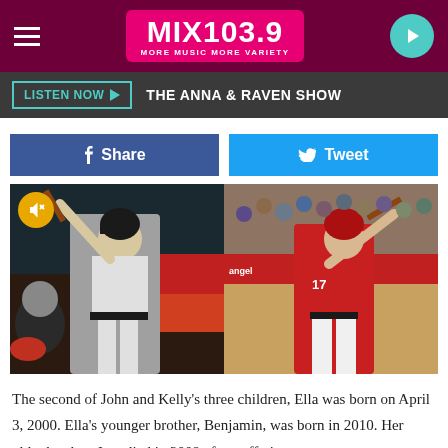MIX 103.9 MORE MUSIC MORE VARIETY
LISTEN NOW  THE ANNA & RAVEN SHOW
Share  Tweet
[Figure (photo): Two side-by-side baseball player photos: left shows a player in gray uniform swinging a bat with a catcher behind him, right shows a player in red Angels uniform number 17 swinging a bat with crowd in background. A yellow mute/speaker icon is in the upper left corner.]
The second of John and Kelly's three children, Ella was born on April 3, 2000. Ella's younger brother, Benjamin, was born in 2010. Her older brother, Jett, died in 2009 after suffering a